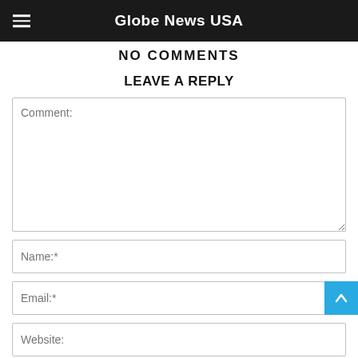Globe News USA
NO COMMENTS
LEAVE A REPLY
Comment:
Name:*
Email:*
Website: